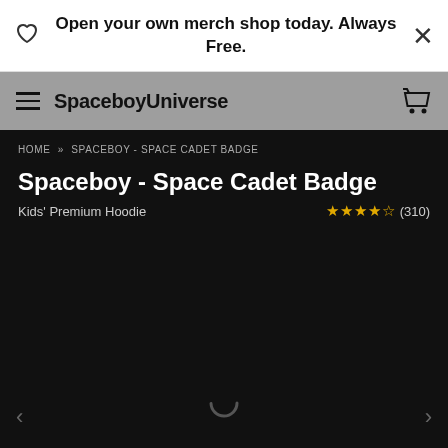Open your own merch shop today. Always Free.
SpaceboyUniverse
HOME > SPACEBOY - SPACE CADET BADGE
Spaceboy - Space Cadet Badge
Kids' Premium Hoodie   ★★★★½ (310)
[Figure (other): Black product image area with loading spinner and navigation arrows]